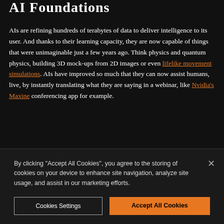AI Foundations
AIs are refining hundreds of terabytes of data to deliver intelligence to its user. And thanks to their learning capacity, they are now capable of things that were unimaginable just a few years ago. Think physics and quantum physics, building 3D mock-ups from 2D images or even lifelike movement simulations. AIs have improved so much that they can now assist humans, live, by instantly translating what they are saying in a webinar, like Nvidia’s Maxine conferencing app for example.
By clicking “Accept All Cookies”, you agree to the storing of cookies on your device to enhance site navigation, analyze site usage, and assist in our marketing efforts.
Cookies Settings
Accept All Cookies